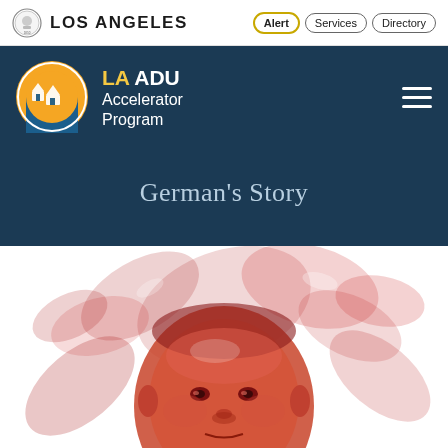LOS ANGELES | Alert | Services | Directory
[Figure (logo): LA ADU Accelerator Program logo with yellow circle and house icons, on dark navy background]
German's Story
[Figure (photo): Red-tinted portrait photo of an elderly man with tropical foliage in the background]